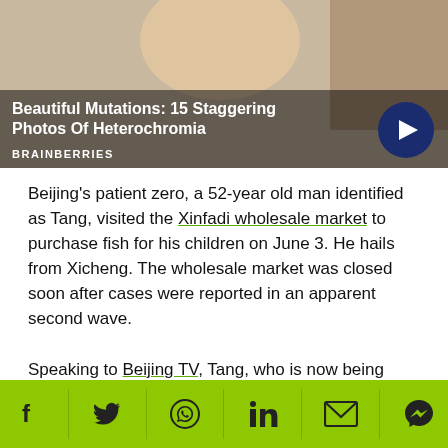[Figure (photo): Advertisement banner showing a woman smiling and a dog with heterochromia eyes. Title: 'Beautiful Mutations: 15 Staggering Photos Of Heterochromia'. Source: BRAINBERRIES]
Beijing's patient zero, a 52-year old man identified as Tang, visited the Xinfadi wholesale market to purchase fish for his children on June 3. He hails from Xicheng. The wholesale market was closed soon after cases were reported in an apparent second wave.
Speaking to Beijing TV, Tang, who is now being called the grandpa of Xicheng, said: "I went to buy some fish. My children wanted to have fish. I thought I'd go buy some, and then I got hit (by the virus)." Lying on his hospital bed
Social sharing bar: Facebook, Twitter, WhatsApp, LinkedIn, Email, Messenger